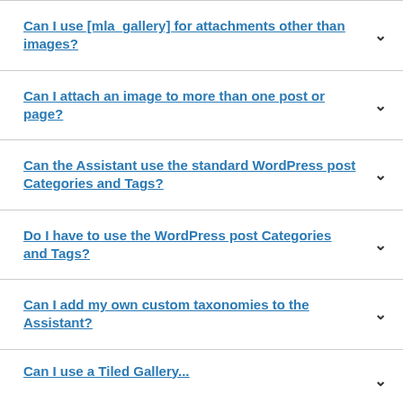Can I use [mla_gallery] for attachments other than images?
Can I attach an image to more than one post or page?
Can the Assistant use the standard WordPress post Categories and Tags?
Do I have to use the WordPress post Categories and Tags?
Can I add my own custom taxonomies to the Assistant?
Can I use a Tiled Gallery...